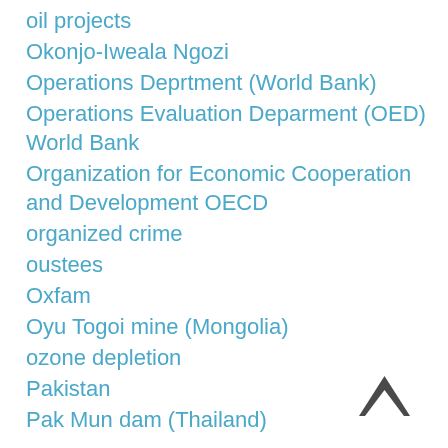oil projects
Okonjo-Iweala Ngozi
Operations Deprtment (World Bank)
Operations Evaluation Deparment (OED) World Bank
Organization for Economic Cooperation and Development OECD
organized crime
oustees
Oxfam
Oyu Togoi mine (Mongolia)
ozone depletion
Pakistan
Pak Mun dam (Thailand)